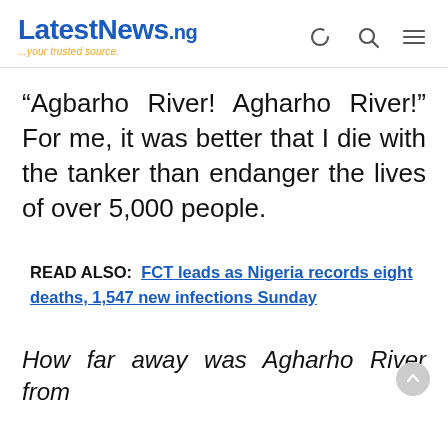LatestNews.ng ...your trusted source.
“Agbarho River! Agharho River!” For me, it was better that I die with the tanker than endanger the lives of over 5,000 people.
READ ALSO: FCT leads as Nigeria records eight deaths, 1,547 new infections Sunday
How far away was Agharho River from